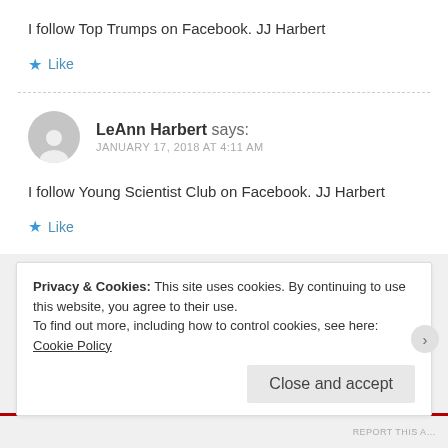I follow Top Trumps on Facebook. JJ Harbert
★ Like
LeAnn Harbert says:
JANUARY 17, 2018 AT 4:11 AM
I follow Young Scientist Club on Facebook. JJ Harbert
★ Like
Privacy & Cookies: This site uses cookies. By continuing to use this website, you agree to their use.
To find out more, including how to control cookies, see here: Cookie Policy
Close and accept